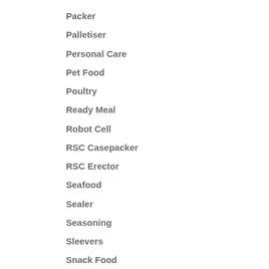Packer
Palletiser
Personal Care
Pet Food
Poultry
Ready Meal
Robot Cell
RSC Casepacker
RSC Erector
Seafood
Sealer
Seasoning
Sleevers
Snack Food